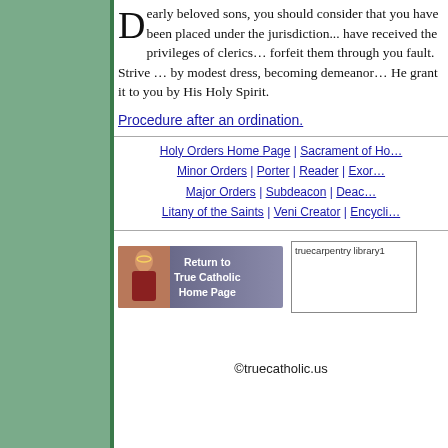Dearly beloved sons, you should consider that you have been placed under the jurisdiction... have received the privileges of clerics... forfeit them through you fault. Strive ... by modest dress, becoming demeanor... He grant it to you by His Holy Spirit.
Procedure after an ordination.
Holy Orders Home Page | Sacrament of Ho... | Minor Orders | Porter | Reader | Exor... | Major Orders | Subdeacon | Deac... | Litany of the Saints | Veni Creator | Encycli...
[Figure (illustration): Return to True Catholic Home Page banner with figure of Jesus]
[Figure (illustration): truecarpentry library1 image placeholder]
©truecatholic.us